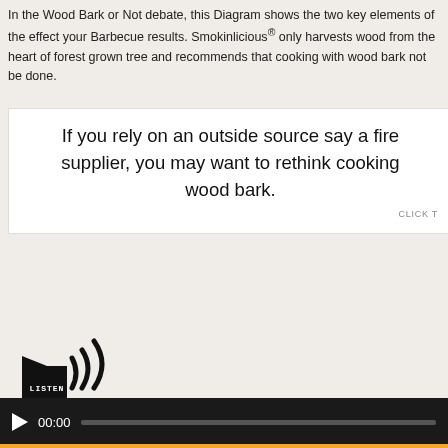In the Wood Bark or Not debate, this Diagram shows the two key elements of the effect your Barbecue results. Smokinlicious® only harvests wood from the heart of forest grown tree and recommends that cooking with wood bark not be done.
If you rely on an outside source say a fire supplier, you may want to rethink cooking wood bark.
CLICK T
[Figure (illustration): Speaker/listen icon with sound waves and LISTEN text label]
[Figure (screenshot): Audio player bar with play button, 00:00 time display, and progress bar on dark background]
COOKING WITH WOOD BARK – TO BARK O